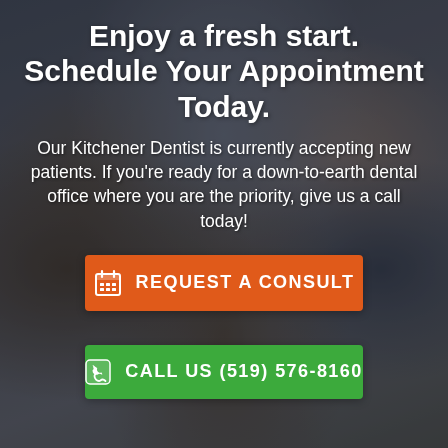[Figure (photo): Family of four smiling together against a brick wall background — mother, father, and two children. Dark overlay applied over the photo.]
Enjoy a fresh start. Schedule Your Appointment Today.
Our Kitchener Dentist is currently accepting new patients. If you're ready for a down-to-earth dental office where you are the priority, give us a call today!
REQUEST A CONSULT
CALL US (519) 576-8160